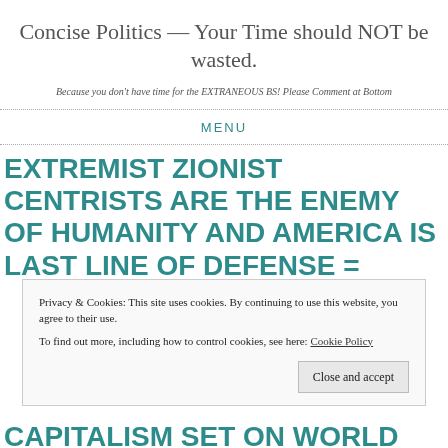Concise Politics — Your Time should NOT be wasted.
Because you don't have time for the EXTRANEOUS BS! Please Comment at Bottom
MENU
EXTREMIST ZIONIST CENTRISTS ARE THE ENEMY OF HUMANITY AND AMERICA IS LAST LINE OF DEFENSE =
Privacy & Cookies: This site uses cookies. By continuing to use this website, you agree to their use.
To find out more, including how to control cookies, see here: Cookie Policy
CAPITALISM SET ON WORLD